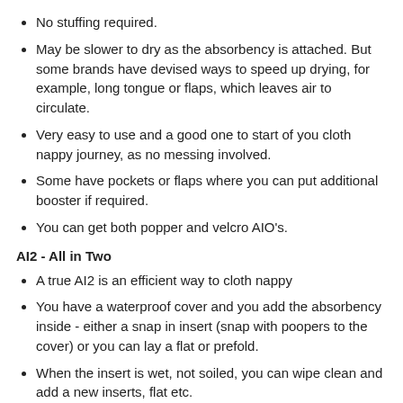No stuffing required.
May be slower to dry as the absorbency is attached. But some brands have devised ways to speed up drying, for example, long tongue or flaps, which leaves air to circulate.
Very easy to use and a good one to start of you cloth nappy journey, as no messing involved.
Some have pockets or flaps where you can put additional booster if required.
You can get both popper and velcro AIO's.
AI2 - All in Two
A true AI2 is an efficient way to cloth nappy
You have a waterproof cover and you add the absorbency inside - either a snap in insert (snap with poopers to the cover) or you can lay a flat or prefold.
When the insert is wet, not soiled, you can wipe clean and add a new inserts, flat etc.